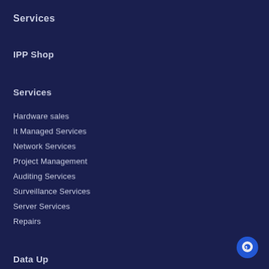Services
IPP Shop
Services
Hardware sales
It Managed Services
Network Services
Project Management
Auditing Services
Surveillance Services
Server Services
Repairs
Data Up